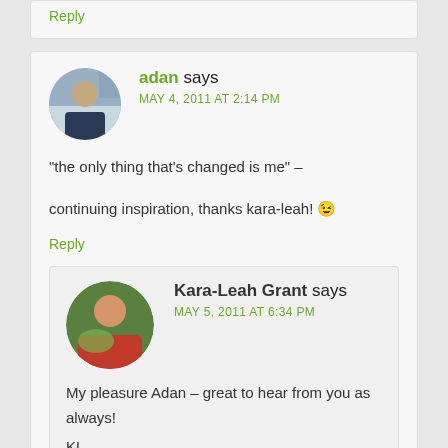Reply
adan says
MAY 4, 2011 AT 2:14 PM
“the only thing that’s changed is me” –

continuing inspiration, thanks kara-leah! 😉
Reply
Kara-Leah Grant says
MAY 5, 2011 AT 6:34 PM
My pleasure Adan – great to hear from you as always!
KL